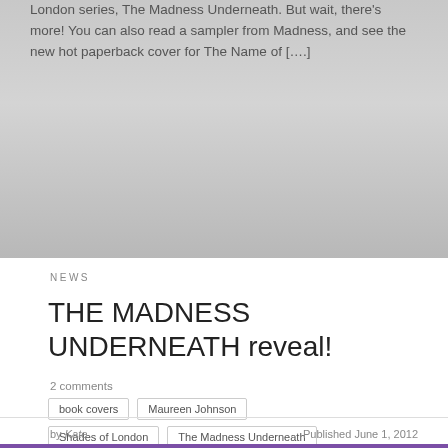London series, The Madness Underneath. But wait, there's more! You can also read a sampler from Madness, and see the new hot paperback cover for The Name of [….]
NEWS
THE MADNESS UNDERNEATH reveal!
2 comments
book covers
Maureen Johnson
Shades of London
The Madness Underneath
The Name of the Star
by Kate	Published June 1, 2012